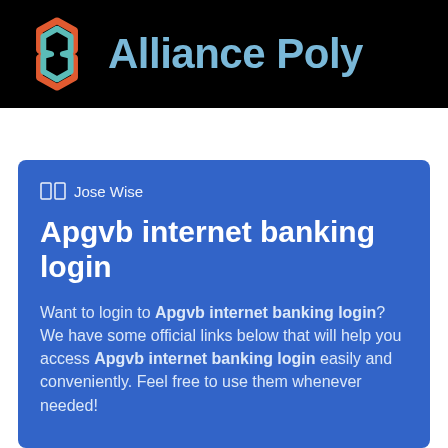[Figure (logo): Alliance Poly logo with hexagonal geometric icon in red/orange and teal colors, with brand name 'Alliance Poly' in light blue on black background]
🗂️ Jose Wise
Apgvb internet banking login
Want to login to Apgvb internet banking login? We have some official links below that will help you access Apgvb internet banking login easily and conveniently. Feel free to use them whenever needed!